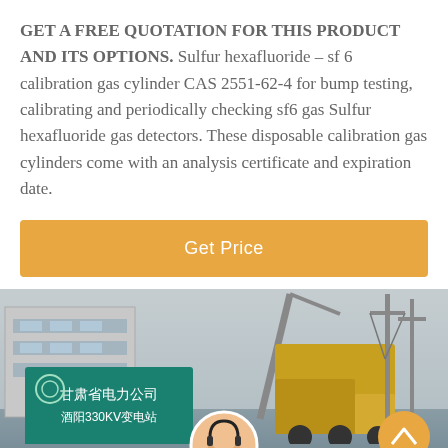GET A FREE QUOTATION FOR THIS PRODUCT AND ITS OPTIONS. Sulfur hexafluoride – sf 6 calibration gas cylinder CAS 2551-62-4 for bump testing, calibrating and periodically checking sf6 gas Sulfur hexafluoride gas detectors. These disposable calibration gas cylinders come with an analysis certificate and expiration date.
[Figure (other): Orange 'Get Price' button bar]
[Figure (photo): Outdoor photo showing a Chinese power company building with a teal sign reading 甘肃省电力公司 and other Chinese characters, a yellow crane/truck, and power line poles on the right. Bottom overlay shows a chat bar with 'Leave Message' and 'Chat Online' buttons, a customer service avatar in the center, and an orange scroll-up button.]